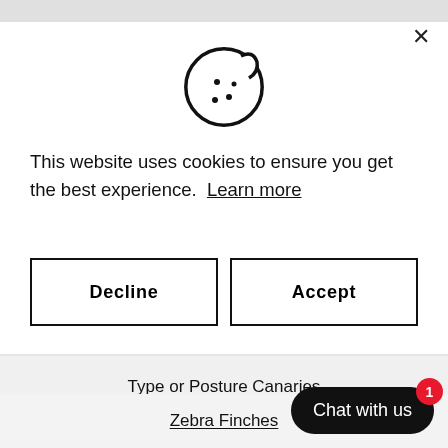[Figure (illustration): Cookie icon — circular cookie with a bite taken out of the top-right, with small dots/chips on it, drawn in black outline style]
This website uses cookies to ensure you get the best experience. Learn more
Decline
Accept
Type or Posture Canaries
Zebra Finches
Chat with us